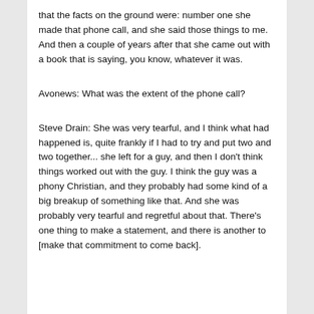that the facts on the ground were: number one she made that phone call, and she said those things to me. And then a couple of years after that she came out with a book that is saying, you know, whatever it was.
Avonews: What was the extent of the phone call?
Steve Drain: She was very tearful, and I think what had happened is, quite frankly if I had to try and put two and two together... she left for a guy, and then I don't think things worked out with the guy. I think the guy was a phony Christian, and they probably had some kind of a big breakup of something like that. And she was probably very tearful and regretful about that. There's one thing to make a statement, and there is another to [make that commitment to come back].